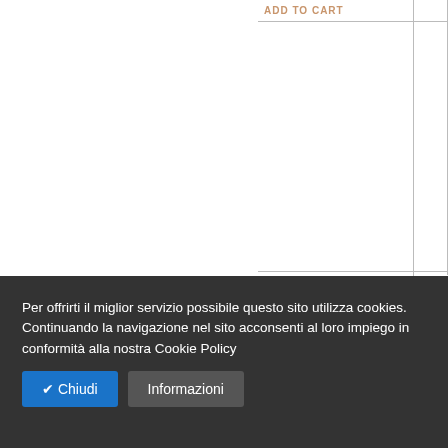ADD TO CART
ASSOS EARLY WINTER 7
Regular Price: €84.00
SPECIAL PRICE €58.80
BIOT
Regu
SPEC
Per offrirti il miglior servizio possibile questo sito utilizza cookies. Continuando la navigazione nel sito acconsenti al loro impiego in conformità alla nostra Cookie Policy
✔ Chiudi
Informazioni